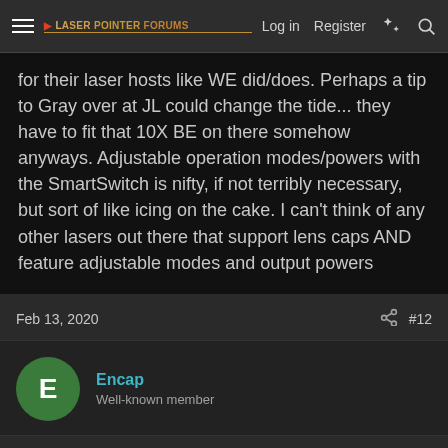Laser Pointer Forums - Log in - Register
for their laser hosts like WE did/does. Perhaps a tip to Gray over at JL could change the tide... they have to fit that 10X BE on there somehow anyways. Adjustable operation modes/powers with the SmartSwitch is nifty, if not terribly necessary, but sort of like icing on the cake. I can't think of any other lasers out there that support lens caps AND feature adjustable modes and output powers
Feb 13, 2020  #12
Encap
Well-known member
hwang21 said:
Yeah, I messaged the eBay seller but they did not respond on 532nm vs 520nm or what power level it is at